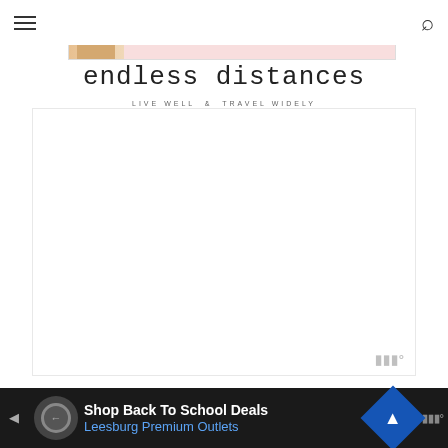[Figure (screenshot): Top advertisement banner with pink background, person illustration, and text 'Actions louder than words.']
endless distances
LIVE WELL  &  TRAVEL WIDELY
[Figure (photo): Large white/empty image area with watermark logo in bottom right corner]
Nyugati Cöli Bisztró // Budapest, Jókai u. 40,
[Figure (screenshot): Bottom advertisement bar: 'Shop Back To School Deals - Leesburg Premium Outlets']